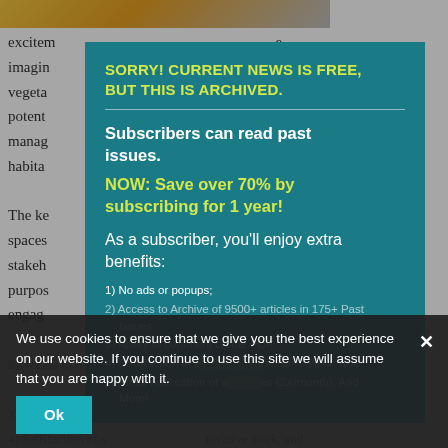[Figure (photo): Partial background photo — yellow and black tones visible at top left]
excitem
imagin
vegeta
potent
manag
habita

The ke
spaces
stakeh
purpos
engag

contrib
while l
SORRY! CURRENT NEWS IS FREE, BUT THIS IS ARCHIVED.

Subscribers can read past issues.
NOW: Save over 70% by subscribing for 1 year!

As a subscriber, you'll enjoy extra benefits:

1) No ads or popups;
2) Access to Archive of 9500+ articles in 175+ Past Issues;
3) Ability to comment on the PDF;
4) Satisfaction of supporting regenerative work; and
5) Email notification of new issues (2X/month). And More!
We use cookies to ensure that we give you the best experience on our website. If you continue to use this site we will assume that you are happy with it.
Ok